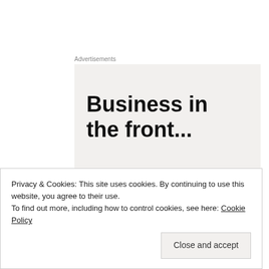Advertisements
[Figure (other): Advertisement banner with bold text reading 'Business in the front...' on a light beige/grey background]
That beast of not knowing must be faced and conquered and tamed. And yes, you should feel a little scared and vulnerable.  The vulnerability heightens your senses; it pumps you up with the adrenaline you need to be brave.
Privacy & Cookies: This site uses cookies. By continuing to use this website, you agree to their use.
To find out more, including how to control cookies, see here: Cookie Policy
Close and accept